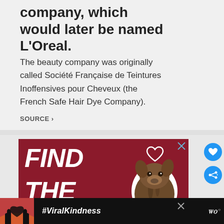company, which would later be named L'Oreal.
The beauty company was originally called Société Française de Teintures Inoffensives pour Cheveux (the French Safe Hair Dye Company).
SOURCE >
[Figure (photo): Advertisement with dark red background showing large white bold italic text 'FIND THE' and a dog (boxer/brindle breed) in the lower right corner with a heart outline in the upper right. Close button (X) in top right corner.]
[Figure (photo): Bottom advertisement bar on black background showing a person making a heart shape with hands against a colorful sky, with '#ViralKindness' text in white italic bold, a close X button, and a wordmark in the far right.]